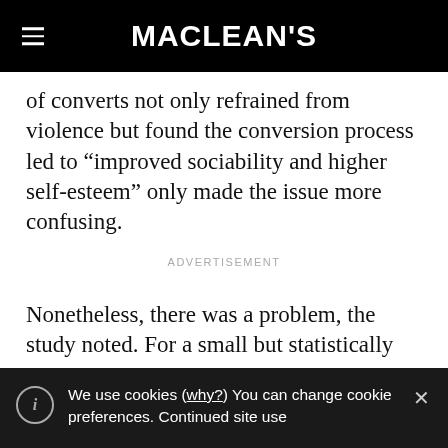MACLEAN'S
of converts not only refrained from violence but found the conversion process led to “improved sociability and higher self-esteem” only made the issue more confusing.
ADVERTISEMENT
Nonetheless, there was a problem, the study noted. For a small but statistically
We use cookies (why?) You can change cookie preferences. Continued site use